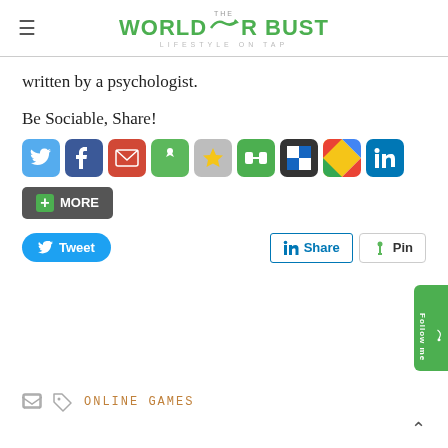THE WORLD OR BUST — LIFESTYLE ON TAP
written by a psychologist.
Be Sociable, Share!
[Figure (other): Social sharing icons: Twitter, Facebook, Gmail, Thumbtack, Star/Favorites, StumbleUpon, Delicious, Google+, LinkedIn]
[Figure (other): More sharing button and social action buttons: Tweet, LinkedIn Share, Pin]
ONLINE GAMES